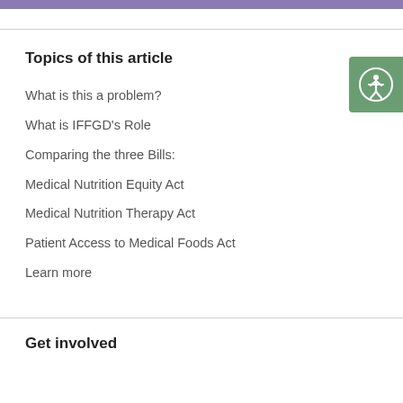Topics of this article
What is this a problem?
What is IFFGD's Role
Comparing the three Bills:
Medical Nutrition Equity Act
Medical Nutrition Therapy Act
Patient Access to Medical Foods Act
Learn more
Get involved